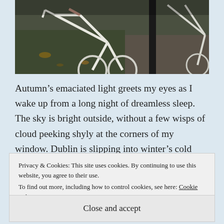[Figure (photo): Photograph of two bicycles parked on a cobblestone street next to a black pole, with autumn leaves on the ground. Image is cropped showing top portion.]
Autumn's emaciated light greets my eyes as I wake up from a long night of dreamless sleep. The sky is bright outside, without a few wisps of cloud peeking shyly at the corners of my window. Dublin is slipping into winter's cold arms: when I step outside, a strong gust of wind glances against my cheek. Nick and I walk briskly to the train
Privacy & Cookies: This site uses cookies. By continuing to use this website, you agree to their use.
To find out more, including how to control cookies, see here: Cookie Policy
Close and accept